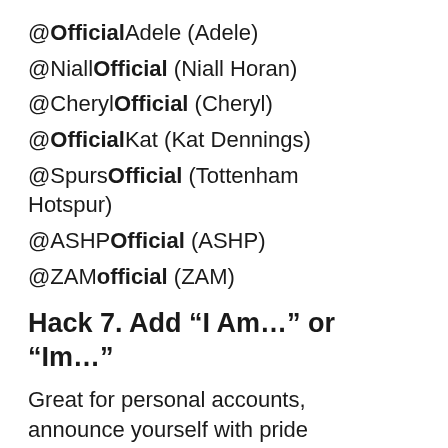@OfficialAdele (Adele)
@NiallOfficial (Niall Horan)
@CherylOfficial (Cheryl)
@OfficialKat (Kat Dennings)
@SpursOfficial (Tottenham Hotspur)
@ASHPOfficial (ASHP)
@ZAMofficial (ZAM)
Hack 7. Add “I Am…” or “Im…”
Great for personal accounts, announce yourself with pride